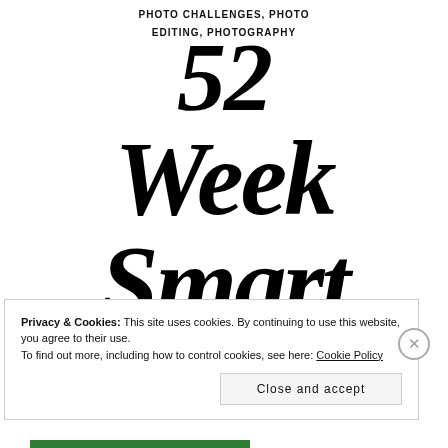PHOTO CHALLENGES, PHOTO EDITING, PHOTOGRAPHY
52 Week Smart
Privacy & Cookies: This site uses cookies. By continuing to use this website, you agree to their use.
To find out more, including how to control cookies, see here: Cookie Policy
Close and accept